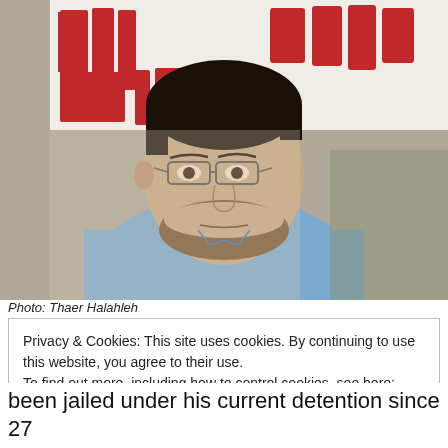[Figure (photo): A man wearing glasses and a blue button-up shirt looks to the side. Behind him is a banner with red Arabic text on a white background.]
Photo: Thaer Halahleh
Privacy & Cookies: This site uses cookies. By continuing to use this website, you agree to their use.
To find out more, including how to control cookies, see here: Cookie Policy
Close and accept
been jailed under his current detention since 27